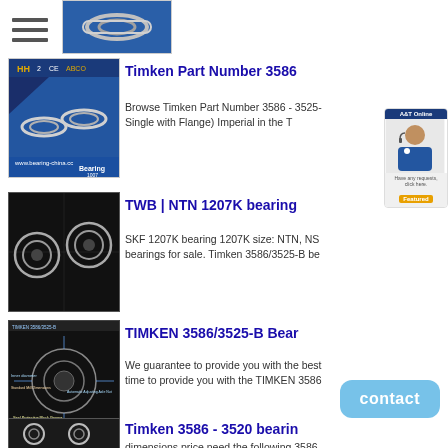[Figure (photo): Partial bearing product image at top of page]
[Figure (photo): Bearing product image with blue background and certification logos, www.bearing-china.cc]
Timken Part Number 3586
Browse Timken Part Number 3586 - 3525- Single with Flange) Imperial in the T
[Figure (photo): Two ball bearings on black background]
TWB | NTN 1207K bearing
SKF 1207K bearing 1207K size: NTN, NS bearings for sale. Timken 3586/3525-B be
[Figure (engineering-diagram): TIMKEN 3586/3525-B bearing engineering diagram with labeled components on dark background]
TIMKEN 3586/3525-B Bear
We guarantee to provide you with the best time to provide you with the TIMKEN 3586
[Figure (photo): Two ball bearings on dark background, partial view at bottom]
Timken 3586 - 3520 bearin
dimensions price need the following 3586